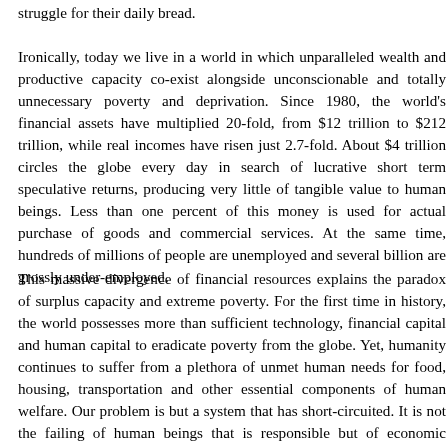struggle for their daily bread.
Ironically, today we live in a world in which unparalleled wealth and productive capacity co-exist alongside unconscionable and totally unnecessary poverty and deprivation. Since 1980, the world’s financial assets have multiplied 20-fold, from $12 trillion to $212 trillion, while real incomes have risen just 2.7-fold. About $4 trillion circles the globe every day in search of lucrative short term speculative returns, producing very little of tangible value to human beings. Less than one percent of this money is used for actual purchase of goods and commercial services. At the same time, hundreds of millions of people are unemployed and several billion are grossly under-employed.
This massive divergence of financial resources explains the paradox of surplus capacity and extreme poverty. For the first time in history, the world possesses more than sufficient technology, financial capital and human capital to eradicate poverty from the globe. Yet, humanity continues to suffer from a plethora of unmet human needs for food, housing, transportation and other essential components of human welfare. Our problem is but a system that has short-circuited. It is not the failing of human beings that is responsible but of economic theory, policy and practice.